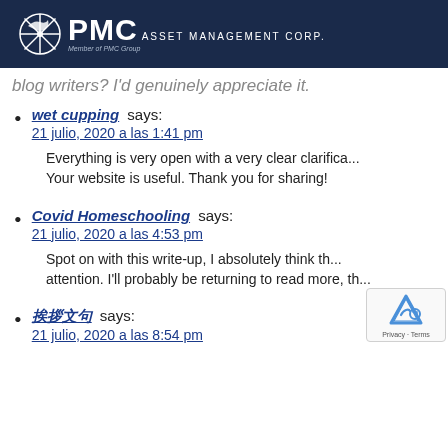[Figure (logo): PMC Asset Management Corp. logo with ship wheel icon on dark navy header bar]
blog writers? I'd genuinely appreciate it.
wet cupping says:
21 julio, 2020 a las 1:41 pm

Everything is very open with a very clear clarifica... Your website is useful. Thank you for sharing!
Covid Homeschooling says:
21 julio, 2020 a las 4:53 pm

Spot on with this write-up, I absolutely think th... attention. I'll probably be returning to read more, th...
挨拶文句 says:
21 julio, 2020 a las 8:54 pm